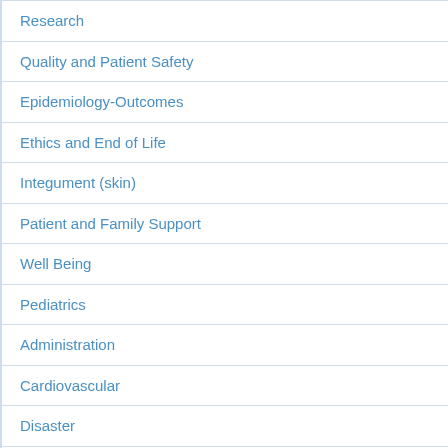Research
Quality and Patient Safety
Epidemiology-Outcomes
Ethics and End of Life
Integument (skin)
Patient and Family Support
Well Being
Pediatrics
Administration
Cardiovascular
Disaster
Endocrine
GI-Nutrition
Hematology